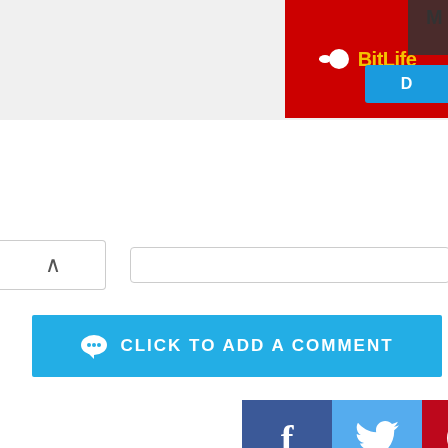[Figure (screenshot): BitLife red advertisement banner with yellow logo text and blue tab]
[Figure (screenshot): Scroll-up arrow button in white rounded box]
CLICK TO ADD A COMMENT
[Figure (infographic): Social share buttons: Facebook (f), Twitter (bird), Pinterest (p)]
Author
KATY BOTNAR
AUGUST 14, 2017
MORE IN FAMILY
[Figure (photo): Bottom image strip partially visible]